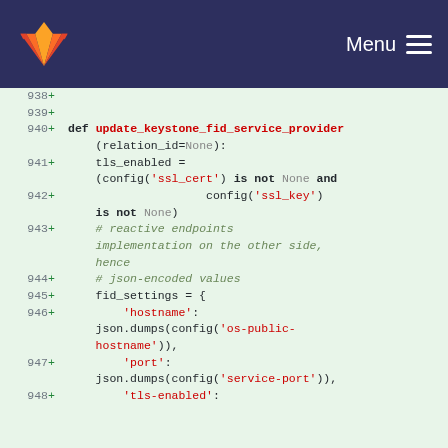GitLab navigation with Menu
[Figure (screenshot): Code diff view showing Python lines 938–948 with additions marked by + signs, syntax highlighted in monospace font on green background]